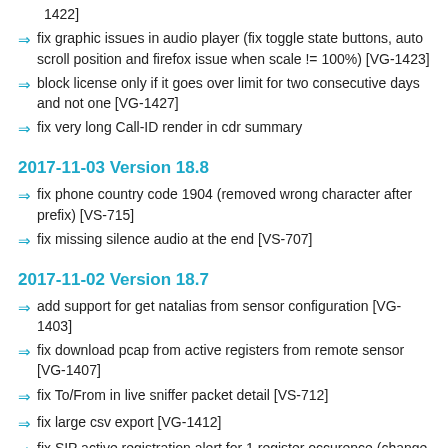1422]
fix graphic issues in audio player (fix toggle state buttons, auto scroll position and firefox issue when scale != 100%) [VG-1423]
block license only if it goes over limit for two consecutive days and not one [VG-1427]
fix very long Call-ID render in cdr summary
2017-11-03 Version 18.8
fix phone country code 1904 (removed wrong character after prefix) [VS-715]
fix missing silence audio at the end [VS-707]
2017-11-02 Version 18.7
add support for get natalias from sensor configuration [VG-1403]
fix download pcap from active registers from remote sensor [VG-1407]
fix To/From in live sniffer packet detail [VS-712]
fix large csv export [VG-1412]
fix SIP active registration alert for 1 register occurence (change interval condition for alert 'SIP is active REGISTER (beta) - from >, < to >=, <=) [VG-1405]
add support for natalias in share.voipmonitor.org [VG-1396]